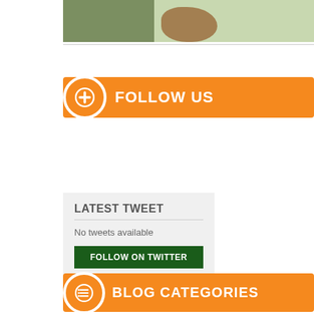[Figure (photo): Partial photo of food/produce arrangement, cropped at top of page]
[Figure (infographic): Orange banner with circle plus icon and text FOLLOW US]
[Figure (infographic): Gray box with LATEST TWEET heading, No tweets available text, and FOLLOW ON TWITTER green button]
[Figure (infographic): Orange banner with circle list icon and text BLOG CATEGORIES]
Announcements
Breakfast Recipes
Diet
DR Night Menu